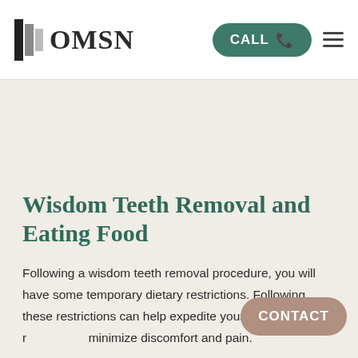OMSN — CALL — menu
Wisdom Teeth Removal and Eating Food
Following a wisdom teeth removal procedure, you will have some temporary dietary restrictions. Following these restrictions can help expedite your r... minimize discomfort and pain.